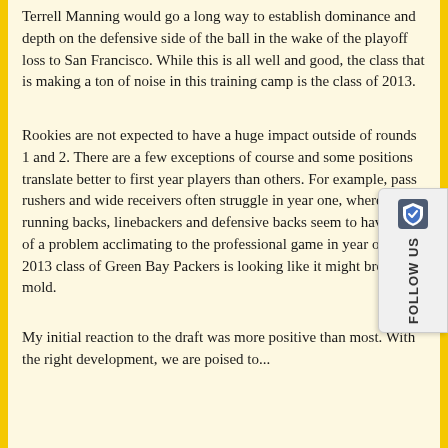Terrell Manning would go a long way to establish dominance and depth on the defensive side of the ball in the wake of the playoff loss to San Francisco.  While this is all well and good, the class that is making a ton of noise in this training camp is the class of 2013.
Rookies are not expected to have a huge impact outside of rounds 1 and 2.  There are a few exceptions of course and some positions translate better to first year players than others. For example, pass rushers and wide receivers often struggle in year one, whereas running backs, linebackers and defensive backs seem to have less of a problem acclimating to the professional game in year one.  The 2013 class of Green Bay Packers is looking like it might break that mold.
My initial reaction to the draft was more positive than most. With the right development, we are poised to...
[Figure (logo): Follow Us widget with shield/Brave browser icon and vertical 'Follow Us' text]